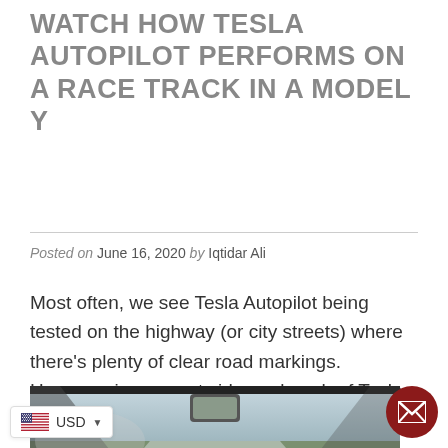WATCH HOW TESLA AUTOPILOT PERFORMS ON A RACE TRACK IN A MODEL Y
Posted on June 16, 2020 by Iqtidar Ali
Most often, we see Tesla Autopilot being tested on the highway (or city streets) where there's plenty of clear road markings. However, in a recent video, a bunch of Tesla owners tested Autopilot on a race track driving a Model Y Performance.
[Figure (photo): Interior view from a Tesla Model Y on a race track, showing dashboard and rear-view mirror with track visible through windshield]